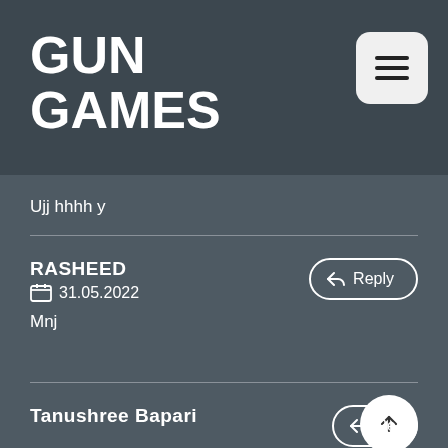GUN GAMES
Ujj hhhh y
RASHEED
31.05.2022
Mnj
Tanushree Bapari